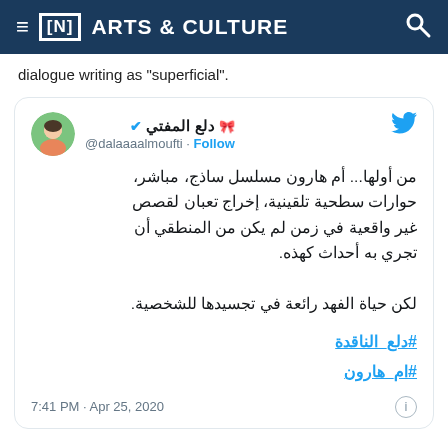≡ [N] ARTS & CULTURE 🔍
dialogue writing as "superficial".
[Figure (screenshot): Tweet from @dalaaaalmoufti (دلع المفتي 🎀) with verified badge. Tweet text in Arabic criticizing the series Om Haroon as shallow, direct, with superficial dialogue, poor direction for unrealistic stories. A second line praises Hayat Al-Fahd's portrayal. Hashtags: #دلع_الناقدة #ام_هارون. Posted 7:41 PM · Apr 25, 2020.]